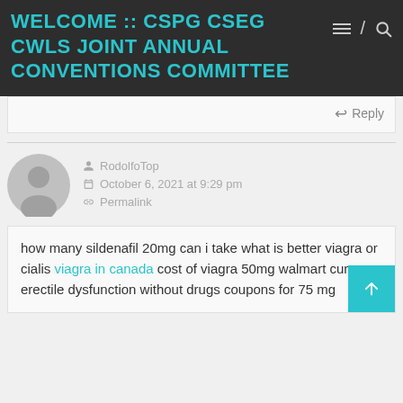WELCOME :: CSPG CSEG CWLS JOINT ANNUAL CONVENTIONS COMMITTEE
Reply
RodolfoTop
October 6, 2021 at 9:29 pm
Permalink
how many sildenafil 20mg can i take what is better viagra or cialis viagra in canada cost of viagra 50mg walmart cure erectile dysfunction without drugs coupons for 75 mg